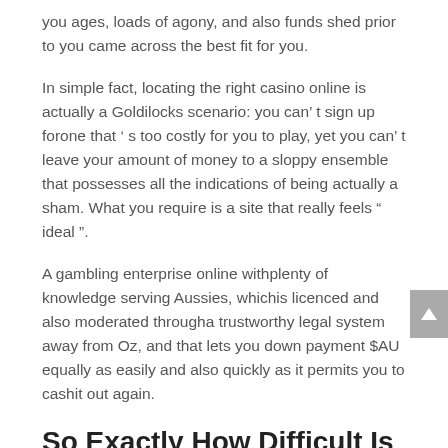you ages, loads of agony, and also funds shed prior to you came across the best fit for you.
In simple fact, locating the right casino online is actually a Goldilocks scenario: you can't sign up for one that 's too costly for you to play, yet you can't leave your amount of money to a sloppy ensemble that possesses all the indications of being actually a sham. What you require is a site that really feels " ideal ".
A gambling enterprise online withplenty of knowledge serving Aussies, whichis licenced and also moderated througha trustworthy legal system away from Oz, and that lets you down payment $AU equally as easily and also quickly as it permits you to cashit out again.
So Exactly How Difficult Is It To Locate The Most Ideal Casinos Online?